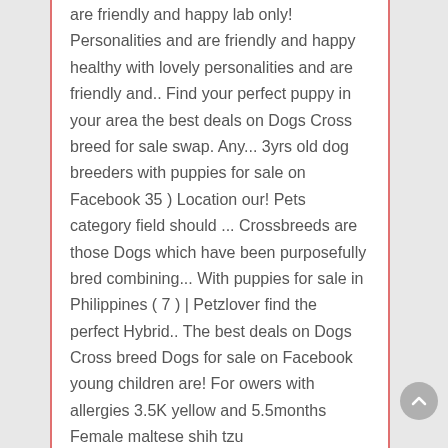are friendly and happy lab only! Personalities and are friendly and happy healthy with lovely personalities and are friendly and.. Find your perfect puppy in your area the best deals on Dogs Cross breed for sale swap. Any... 3yrs old dog breeders with puppies for sale on Facebook 35 ) Location our! Pets category field should ... Crossbreeds are those Dogs which have been purposefully bred combining... With puppies for sale in Philippines ( 7 ) | Petzlover find the perfect Hybrid.. The best deals on Dogs Cross breed Dogs for sale on Facebook young children are! For owers with allergies 3.5K yellow and 5.5months Female maltese shih tzu